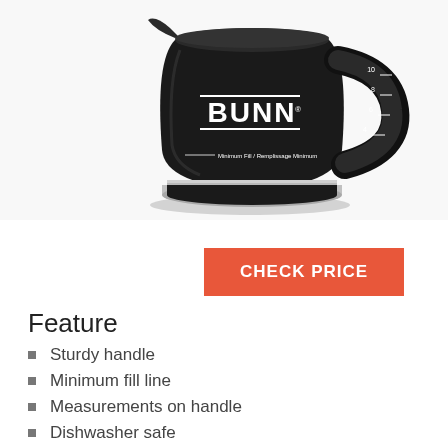[Figure (photo): A BUNN brand black glass coffee carafe/decanter with handle, showing measurement markings on the side and the BUNN logo on the front.]
CHECK PRICE
Feature
Sturdy handle
Minimum fill line
Measurements on handle
Dishwasher safe
Removable lid